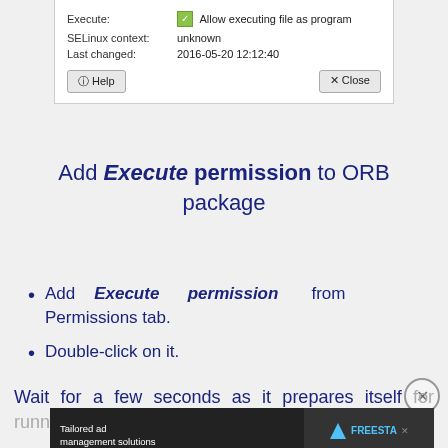[Figure (screenshot): File properties dialog showing Execute checkbox checked with 'Allow executing file as program', SELinux context: unknown, Last changed: 2016-05-20 12:12:40, with Help and Close buttons]
Add Execute permission to ORB package
Add Execute permission from Permissions tab.
Double-click on it.
Wait for a few seconds as it prepares itself for running. And you're good to go.
[Figure (screenshot): Advertisement banner: Tailored ad management solutions for every publisher - FREESTA with LEARN MORE button]